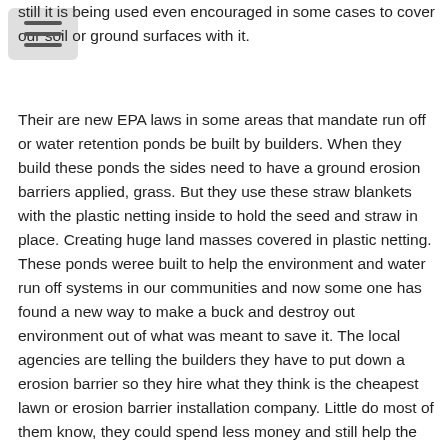still it is being used even encouraged in some cases to cover our soil or ground surfaces with it.
Their are new EPA laws in some areas that mandate run off or water retention ponds be built by builders. When they build these ponds the sides need to have a ground erosion barriers applied, grass. But they use these straw blankets with the plastic netting inside to hold the seed and straw in place. Creating huge land masses covered in plastic netting. These ponds weree built to help the environment and water run off systems in our communities and now some one has found a new way to make a buck and destroy out environment out of what was meant to save it. The local agencies are telling the builders they have to put down a erosion barrier so they hire what they think is the cheapest lawn or erosion barrier installation company. Little do most of them know, they could spend less money and still help the environment if they would just hydro-seed instead of straw/seed applications. That’s right costs a builder less money and still be good for all. Remember, the whole letter and secretary garbage thing? Hydro-seeding is so new in the Midwest areas they just throw it out and it never reaches the building companies